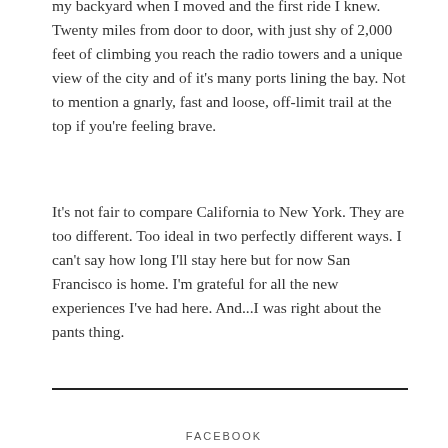my backyard when I moved and the first ride I knew. Twenty miles from door to door, with just shy of 2,000 feet of climbing you reach the radio towers and a unique view of the city and of it's many ports lining the bay. Not to mention a gnarly, fast and loose, off-limit trail at the top if you're feeling brave.
It's not fair to compare California to New York. They are too different. Too ideal in two perfectly different ways. I can't say how long I'll stay here but for now San Francisco is home. I'm grateful for all the new experiences I've had here. And...I was right about the pants thing.
FACEBOOK